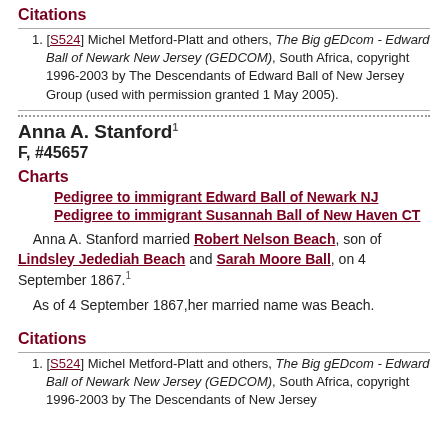Citations
[S524] Michel Metford-Platt and others, The Big gEDcom - Edward Ball of Newark New Jersey (GEDCOM), South Africa, copyright 1996-2003 by The Descendants of Edward Ball of New Jersey Group (used with permission granted 1 May 2005).
Anna A. Stanford¹
F, #45657
Charts
Pedigree to immigrant Edward Ball of Newark NJ
Pedigree to immigrant Susannah Ball of New Haven CT
Anna A. Stanford married Robert Nelson Beach, son of Lindsley Jedediah Beach and Sarah Moore Ball, on 4 September 1867.¹
As of 4 September 1867,her married name was Beach.
Citations
[S524] Michel Metford-Platt and others, The Big gEDcom - Edward Ball of Newark New Jersey (GEDCOM), South Africa, copyright 1996-2003 by The Descendants of New Jersey...